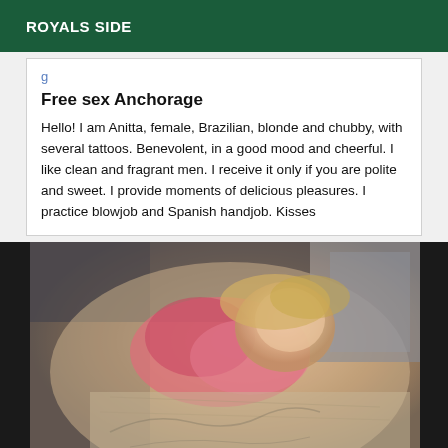ROYALS SIDE
Free sex Anchorage
Hello! I am Anitta, female, Brazilian, blonde and chubby, with several tattoos. Benevolent, in a good mood and cheerful. I like clean and fragrant men. I receive it only if you are polite and sweet. I provide moments of delicious pleasures. I practice blowjob and Spanish handjob. Kisses
[Figure (photo): Blurry photo of a blonde person lying on a bed with patterned bedding, viewed from above at an angle. The image is partially obscured on the left by a dark region.]